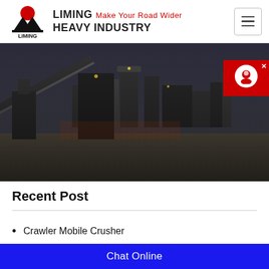LIMING Make Your Road Wider HEAVY INDUSTRY
[Figure (photo): Industrial mining/crushing plant equipment at night with conveyor belts and machinery against dark sky backdrop]
Surface Mining And Underground
Recent Post
Crawler Mobile Crusher
MTW-Z European Trapezium-Mill
K Series Mobile Crushing Plant
Chat Online